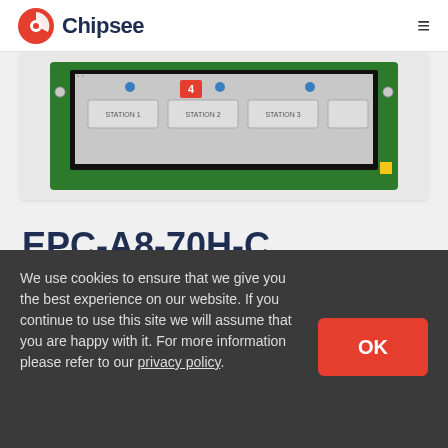Chipsee
[Figure (photo): Chipsee EPC-A8-70H-C embedded PC board with green PCB and LCD screen showing station interface]
EPC-A8-70H-C
SKU: CS10600T070E
We use cookies to ensure that we give you the best experience on our website. If you continue to use this site we will assume that you are happy with it. For more information please refer to our privacy policy.